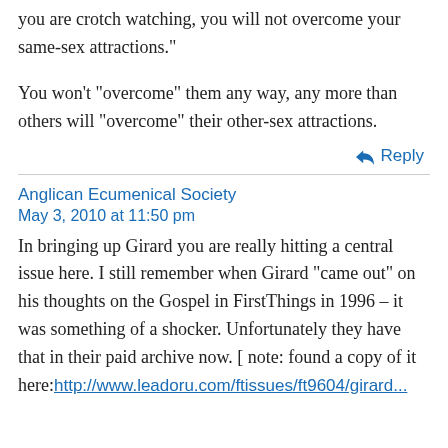you are crotch watching, you will not overcome your same-sex attractions."
You won't "overcome" them any way, any more than others will "overcome" their other-sex attractions.
↩ Reply
Anglican Ecumenical Society
May 3, 2010 at 11:50 pm
In bringing up Girard you are really hitting a central issue here. I still remember when Girard "came out" on his thoughts on the Gospel in FirstThings in 1996 – it was something of a shocker. Unfortunately they have that in their paid archive now. [ note: found a copy of it here:http://www.leaderu.com/ftissues/ft9604/girard...